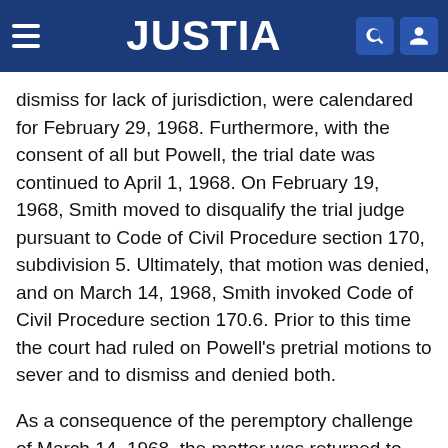JUSTIA
dismiss for lack of jurisdiction, were calendared for February 29, 1968. Furthermore, with the consent of all but Powell, the trial date was continued to April 1, 1968. On February 19, 1968, Smith moved to disqualify the trial judge pursuant to Code of Civil Procedure section 170, subdivision 5. Ultimately, that motion was denied, and on March 14, 1968, Smith invoked Code of Civil Procedure section 170.6. Prior to this time the court had ruled on Powell's pretrial motions to sever and to dismiss and denied both.
As a consequence of the peremptory challenge of March 14, 1968, the matter was returned to the Calendar Department to be reset for trial. The court observed that the discharge of counsel for Smith was before the Supreme Court on a writ of prohibition and was informed that the matter would not be heard until April